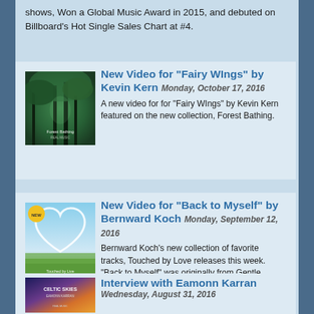shows, Won a Global Music Award in 2015, and debuted on Billboard's Hot Single Sales Chart at #4.
New Video for “Fairy WIngs” by Kevin Kern Monday, October 17, 2016
A new video for for “Fairy WIngs” by Kevin Kern featured on the new collection, Forest Bathing.
[Figure (photo): Album cover for Forest Bathing by Kevin Kern showing a green forest scene]
New Video for “Back to Myself” by Bernward Koch Monday, September 12, 2016
Bernward Koch’s new collection of favorite tracks, Touched by Love releases this week. “Back to Myself” was originally from Gentle Spirit. Enjoy the video!
[Figure (photo): Album cover for Touched by Love by Bernward Koch showing a heart shape with sky and grass]
Interview with Eamonn Karran
Wednesday, August 31, 2016
[Figure (photo): Album cover Celtic Skies by Eamonn Karran showing a colorful sky landscape]